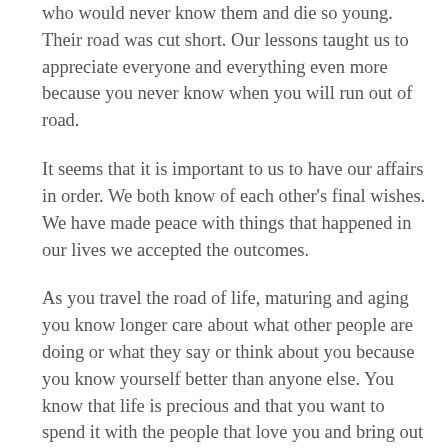who would never know them and die so young. Their road was cut short. Our lessons taught us to appreciate everyone and everything even more because you never know when you will run out of road.
It seems that it is important to us to have our affairs in order. We both know of each other's final wishes. We have made peace with things that happened in our lives we accepted the outcomes.
As you travel the road of life, maturing and aging you know longer care about what other people are doing or what they say or think about you because you know yourself better than anyone else. You know that life is precious and that you want to spend it with the people that love you and bring out the best in you. You value yourself for who and